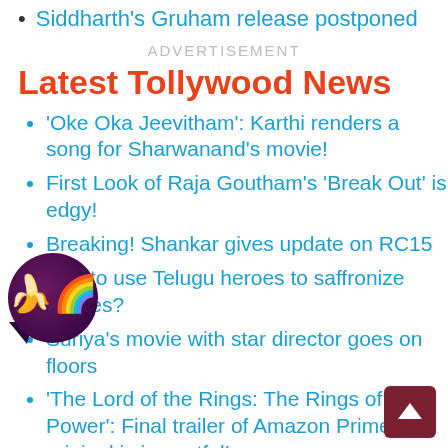Siddharth's Gruham release postponed
ADVERTISEMENT
Latest Tollywood News
'Oke Oka Jeevitham': Karthi renders a song for Sharwanand's movie!
First Look of Raja Goutham's 'Break Out' is edgy!
Breaking! Shankar gives update on RC15
BJP to use Telugu heroes to saffronize movies?
Suriya's movie with star director goes on floors
'The Lord of the Rings: The Rings of Power': Final trailer of Amazon Prime's original is impactful!
Praveen Sattaru's intent, craftsmanship visible in 'The Ghost' trailer
'Antele Katha Antele' is an emotionally heavy movie: Makers
'Liger': Grand US Premieres getting grander!
Zee5's 'Hello World' crosses 100 million viewing